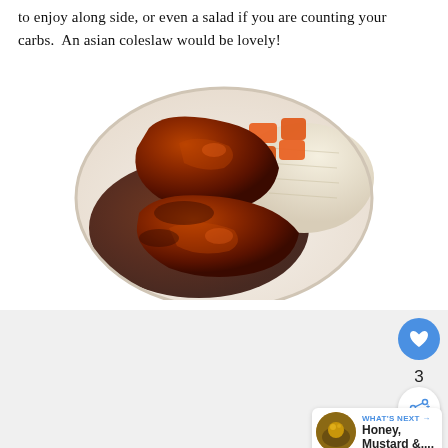to enjoy along side, or even a salad if you are counting your carbs.  An asian coleslaw would be lovely!
[Figure (photo): A plate with glazed chicken pieces in dark sauce, served alongside orange carrots and white rice.]
[Figure (infographic): UI overlay: heart/like button showing count of 3, share button, and a 'What's Next' thumbnail card showing 'Honey, Mustard &...']